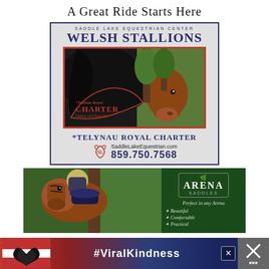A Great Ride Starts Here
[Figure (illustration): Saddle Lake Equestrian Center advertisement for Welsh Stallions featuring *Telynau Royal Charter, with photo of dark horses, logo, website SaddleLakeEquestrian.com and phone 859.750.7568]
[Figure (photo): Arena Saddles advertisement showing a rider with a chestnut horse next to a dark green panel with Arena Saddles branding, tagline 'Perfect in any Arena', and bullet points: Beautiful, Comfortable, Practical]
[Figure (illustration): Bottom banner advertisement showing hands making a heart shape with text #ViralKindness on a red/blue gradient background]